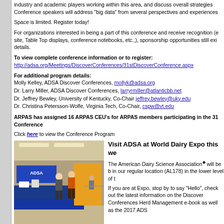industry and academic players working within this area, and discuss overall strategies. Conference speakers will address "big data" from several perspectives and experiences.
Space is limited. Register today!
For organizations interested in being a part of this conference and receive recognition (e site, Table Top displays, conference notebooks, etc.,), sponsorship opportunities still exi details.
To view complete conference information or to register:
http://adsa.org/Meetings/DiscoverConferences/31stDiscoverConference.aspx
For additional program details:
Molly Kelley, ADSA Discover Conferences, mollyk@adsa.org
Dr. Larry Miller, ADSA Discover Conferences, larryrmiller@atlanticbb.net
Dr. Jeffrey Bewley, University of Kentucky, Co-Chair jeffrey.bewley@uky.edu
Dr. Christina Petersson-Wolfe, Virginia Tech, Co-Chair, cspw@vt.edu
ARPAS has assigned 16 ARPAS CEU's for ARPAS members participating in the 31 Conference
Click here to view the Conference Program
[Figure (photo): Photo of ADSA booth at World Dairy Expo trade show floor with blue tablecloths and people standing near displays.]
Visit ADSA at World Dairy Expo this we
The American Dairy Science Association will be b in our regular location (AL178) in the lower level of t
If you are at Expo, stop by to say "Hello", check out the latest information on the Discover Conferences Herd Management e-book as well as the 2017 ADS
Attention: Animal Science Companies! - Are You Looking for Way to Thank Your B
S-PAC (Searchable Proceedings of Animal Conferences) is the largest online collection animal-related conferences in the world. It allows subscribers from across the globe to